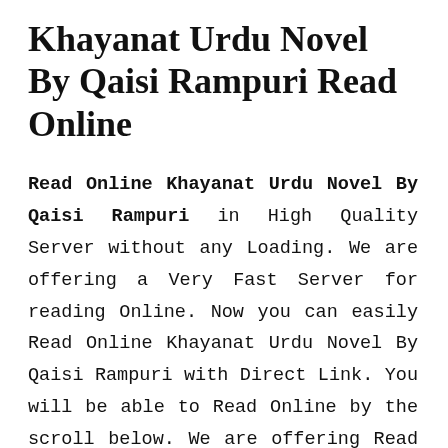Khayanat Urdu Novel By Qaisi Rampuri Read Online
Read Online Khayanat Urdu Novel By Qaisi Rampuri in High Quality Server without any Loading. We are offering a Very Fast Server for reading Online. Now you can easily Read Online Khayanat Urdu Novel By Qaisi Rampuri with Direct Link. You will be able to Read Online by the scroll below. We are offering Read Online Process. So you can Download as well as Read it Online. Just Scroll the cursor below and